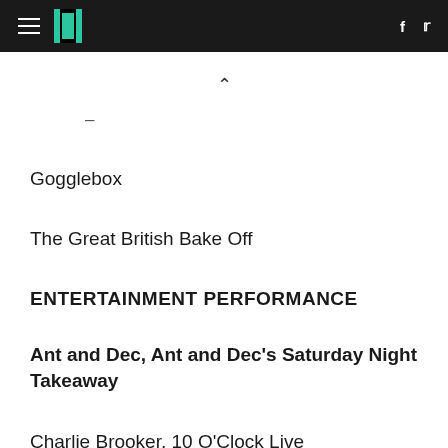HuffPost navigation with logo, hamburger menu, Facebook and Twitter icons
–
Gogglebox
The Great British Bake Off
ENTERTAINMENT PERFORMANCE
Ant and Dec, Ant and Dec's Saturday Night Takeaway
Charlie Brooker, 10 O'Clock Live